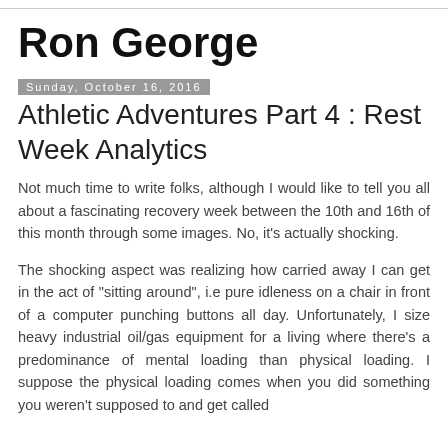Ron George
Sunday, October 16, 2016
Athletic Adventures Part 4 : Rest Week Analytics
Not much time to write folks, although I would like to tell you all about a fascinating recovery week between the 10th and 16th of this month through some images. No, it's actually shocking.
The shocking aspect was realizing how carried away I can get in the act of "sitting around", i.e pure idleness on a chair in front of a computer punching buttons all day. Unfortunately, I size heavy industrial oil/gas equipment for a living where there's a predominance of mental loading than physical loading. I suppose the physical loading comes when you did something you weren't supposed to and get called